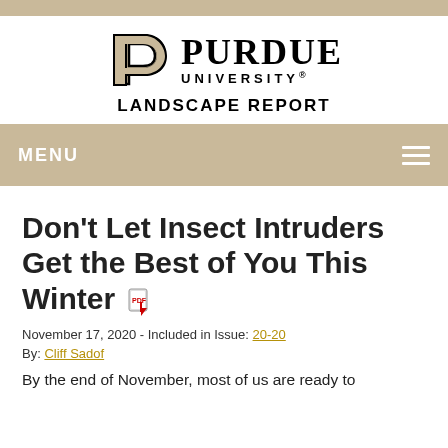[Figure (logo): Purdue University Landscape Report logo with stylized P and university name]
MENU
Don't Let Insect Intruders Get the Best of You This Winter
November 17, 2020 - Included in Issue: 20-20
By: Cliff Sadof
By the end of November, most of us are ready to